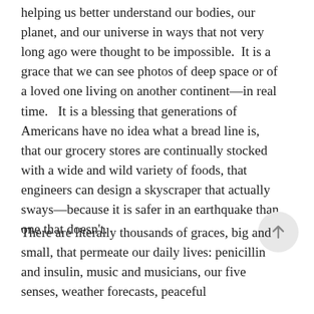helping us better understand our bodies, our planet, and our universe in ways that not very long ago were thought to be impossible.  It is a grace that we can see photos of deep space or of a loved one living on another continent—in real time.   It is a blessing that generations of Americans have no idea what a bread line is, that our grocery stores are continually stocked with a wide and wild variety of foods, that engineers can design a skyscraper that actually sways—because it is safer in an earthquake than one that doesn't.
There are literally thousands of graces, big and small, that permeate our daily lives: penicillin and insulin, music and musicians, our five senses, weather forecasts, peaceful